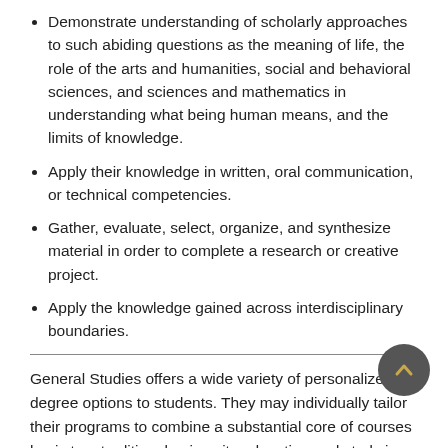Demonstrate understanding of scholarly approaches to such abiding questions as the meaning of life, the role of the arts and humanities, social and behavioral sciences, and sciences and mathematics in understanding what being human means, and the limits of knowledge.
Apply their knowledge in written, oral communication, or technical competencies.
Gather, evaluate, select, organize, and synthesize material in order to complete a research or creative project.
Apply the knowledge gained across interdisciplinary boundaries.
General Studies offers a wide variety of personalized degree options to students. They may individually tailor their programs to combine a substantial core of courses basic to a traditional university education and study in